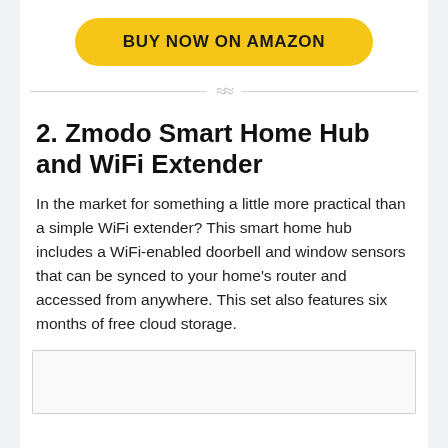BUY NOW ON AMAZON
2. Zmodo Smart Home Hub and WiFi Extender
In the market for something a little more practical than a simple WiFi extender? This smart home hub includes a WiFi-enabled doorbell and window sensors that can be synced to your home's router and accessed from anywhere. This set also features six months of free cloud storage.
[Figure (photo): Image box placeholder at bottom of page]